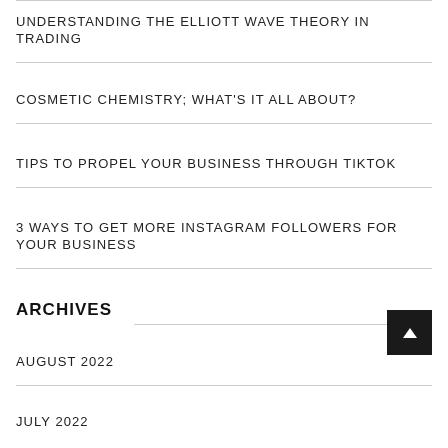UNDERSTANDING THE ELLIOTT WAVE THEORY IN TRADING
COSMETIC CHEMISTRY; WHAT'S IT ALL ABOUT?
TIPS TO PROPEL YOUR BUSINESS THROUGH TIKTOK
3 WAYS TO GET MORE INSTAGRAM FOLLOWERS FOR YOUR BUSINESS
ARCHIVES
AUGUST 2022
JULY 2022